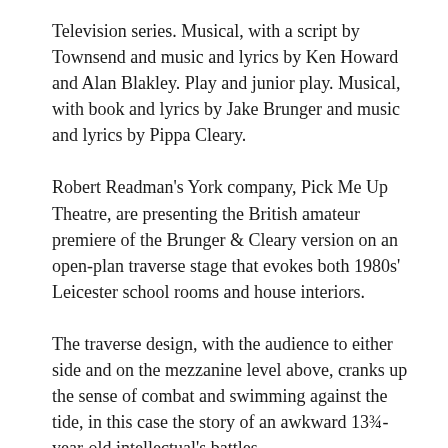Television series. Musical, with a script by Townsend and music and lyrics by Ken Howard and Alan Blakley. Play and junior play. Musical, with book and lyrics by Jake Brunger and music and lyrics by Pippa Cleary.
Robert Readman's York company, Pick Me Up Theatre, are presenting the British amateur premiere of the Brunger & Cleary version on an open-plan traverse stage that evokes both 1980s' Leicester school rooms and house interiors.
The traverse design, with the audience to either side and on the mezzanine level above, cranks up the sense of combat and swimming against the tide, in this case the story of an awkward 13¾-year-old intellectual's battles.